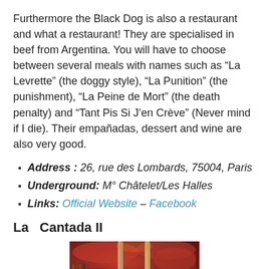Furthermore the Black Dog is also a restaurant and what a restaurant! They are specialised in beef from Argentina. You will have to choose between several meals with names such as “La Levrette” (the doggy style), “La Punition” (the punishment), “La Peine de Mort” (the death penalty) and “Tant Pis Si J’en Crève” (Never mind if I die). Their empañadas, dessert and wine are also very good.
Address : 26, rue des Lombards, 75004, Paris
Underground: M° Châtelet/Les Halles
Links: Official Website – Facebook
La  Cantada II
[Figure (photo): Interior photo of La Cantada II restaurant showing red decor, shelves with bottles, and metal columns]